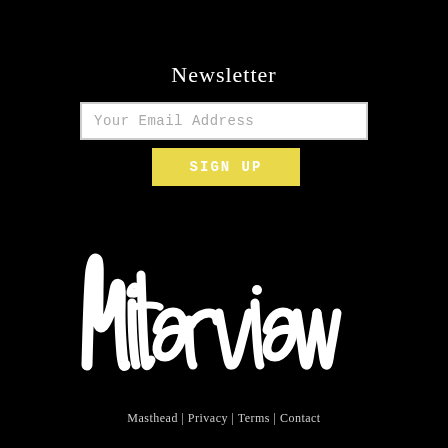Newsletter
Your Email Address
SIGN UP
[Figure (logo): Interview magazine hand-lettered brush script logo in white on black background]
Masthead | Privacy | Terms | Contact